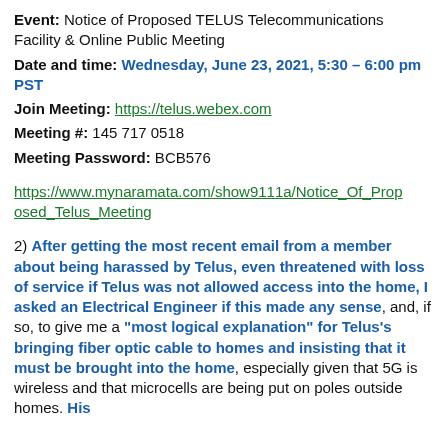Event: Notice of Proposed TELUS Telecommunications Facility & Online Public Meeting
Date and time: Wednesday, June 23, 2021, 5:30 – 6:00 pm PST
Join Meeting: https://telus.webex.com
Meeting #: 145 717 0518
Meeting Password: BCB576
https://www.mynaramata.com/show9111a/Notice_Of_Proposed_Telus_Meeting
2) After getting the most recent email from a member about being harassed by Telus, even threatened with loss of service if Telus was not allowed access into the home, I asked an Electrical Engineer if this made any sense, and, if so, to give me a "most logical explanation" for Telus's bringing fiber optic cable to homes and insisting that it must be brought into the home, especially given that 5G is wireless and that microcells are being put on poles outside homes. His